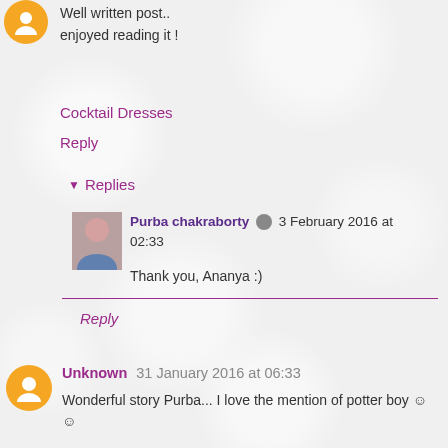Well written post.. enjoyed reading it !
Cocktail Dresses
Reply
Replies
Purba chakraborty 3 February 2016 at 02:33
Thank you, Ananya :)
Reply
Unknown 31 January 2016 at 06:33
Wonderful story Purba... I love the mention of potter boy ☺ ☺